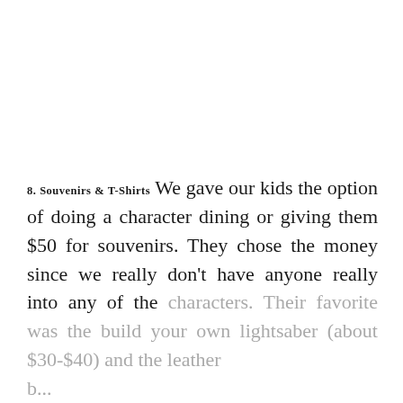8. Souvenirs & T-Shirts We gave our kids the option of doing a character dining or giving them $50 for souvenirs. They chose the money since we really don't have anyone really into any of the characters. Their favorite was the build your own lightsaber (about $30-$40) and the leather b...